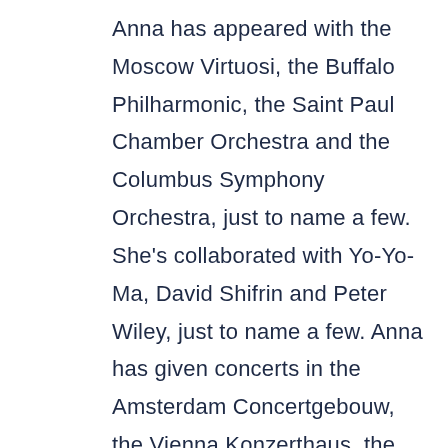Anna has appeared with the Moscow Virtuosi, the Buffalo Philharmonic, the Saint Paul Chamber Orchestra and the Columbus Symphony Orchestra, just to name a few. She's collaborated with Yo-Yo-Ma, David Shifrin and Peter Wiley, just to name a few. Anna has given concerts in the Amsterdam Concertgebouw, the Vienna Konzerthaus, the Alice Tully Hall and Carnegie Hall's Stern, just to name a few. And let's not forget, Anna tours extensively throughout the US, Europe and Asia. Anna is a frequent guest at the Chamber Music Society of Lincoln Center. She is a recipient of a Borletti-Buitoni Trust Fellowship and the